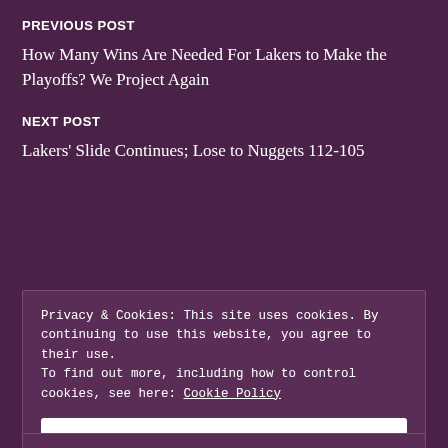PREVIOUS POST
How Many Wins Are Needed For Lakers to Make the Playoffs? We Project Again
NEXT POST
Lakers' Slide Continues; Lose to Nuggets 112-105
Privacy & Cookies: This site uses cookies. By continuing to use this website, you agree to their use.
To find out more, including how to control cookies, see here: Cookie Policy
Close and accept